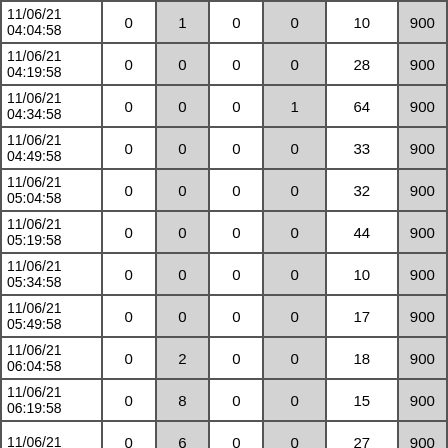| Datetime | Col2 | Col3 | Col4 | Col5 | Col6 | Col7 |
| --- | --- | --- | --- | --- | --- | --- |
| 11/06/21 04:04:58 | 0 | 1 | 0 | 0 | 10 | 900 |
| 11/06/21 04:19:58 | 0 | 0 | 0 | 0 | 28 | 900 |
| 11/06/21 04:34:58 | 0 | 0 | 0 | 1 | 64 | 900 |
| 11/06/21 04:49:58 | 0 | 0 | 0 | 0 | 33 | 900 |
| 11/06/21 05:04:58 | 0 | 0 | 0 | 0 | 32 | 900 |
| 11/06/21 05:19:58 | 0 | 0 | 0 | 0 | 44 | 900 |
| 11/06/21 05:34:58 | 0 | 0 | 0 | 0 | 10 | 900 |
| 11/06/21 05:49:58 | 0 | 0 | 0 | 0 | 17 | 900 |
| 11/06/21 06:04:58 | 0 | 2 | 0 | 0 | 18 | 900 |
| 11/06/21 06:19:58 | 0 | 8 | 0 | 0 | 15 | 900 |
| 11/06/21 ... | 0 | 6 | 0 | 0 | 27 | 900 |